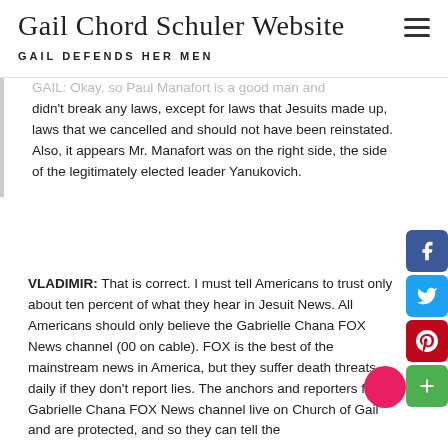Gail Chord Schuler Website — GAIL DEFENDS HER MEN
GAIL: Okay, so Paul Manafort is a good man and didn't break any laws, except for laws that Jesuits made up, laws that we cancelled and should not have been reinstated. Also, it appears Mr. Manafort was on the right side, the side of the legitimately elected leader Yanukovich.
VLADIMIR: That is correct. I must tell Americans to trust only about ten percent of what they hear in Jesuit News. All Americans should only believe the Gabrielle Chana FOX News channel (00 on cable). FOX is the best of the mainstream news in America, but they suffer death threats daily if they don't report lies. The anchors and reporters for the Gabrielle Chana FOX News channel live on Church of Gail and are protected, and so they can tell the